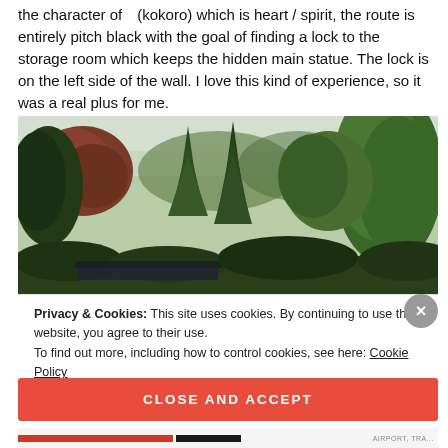the character of (kokoro) which is heart / spirit, the route is entirely pitch black with the goal of finding a lock to the storage room which keeps the hidden main statue. The lock is on the left side of the wall. I love this kind of experience, so it was a real plus for me.
[Figure (photo): Outdoor photo of Japanese garden with large green trees, pine trees, a red-leaved maple tree, tall conifers, and overcast sky. Rooftop of traditional building visible at bottom.]
Privacy & Cookies: This site uses cookies. By continuing to use this website, you agree to their use.
To find out more, including how to control cookies, see here: Cookie Policy
CLOSE AND ACCEPT